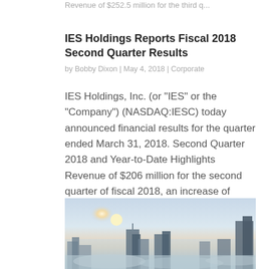Revenue of $252.5 million for the third q...
IES Holdings Reports Fiscal 2018 Second Quarter Results
by Bobby Dixon | May 4, 2018 | Corporate
IES Holdings, Inc. (or “IES” or the “Company”) (NASDAQ:IESC) today announced financial results for the quarter ended March 31, 2018. Second Quarter 2018 and Year-to-Date Highlights Revenue of $206 million for the second quarter of fiscal 2018, an increase of 1.0%....
[Figure (photo): City skyline with tall buildings emerging from fog or mist, with a bright sun or light source in the background creating a moody, atmospheric scene.]